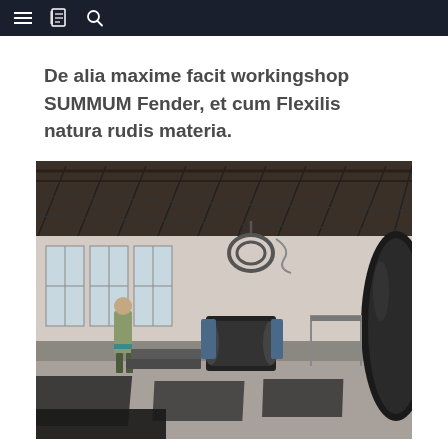Navigation bar with menu, book, and search icons
De alia maxime facit workingshop SUMMUM Fender, et cum Flexilis natura rudis materia.
[Figure (photo): Interior of a large industrial workshop or warehouse with a metal truss roof, tall windows on the left wall, a standing worker in the middle-left area, rubber/material sheets laid out on the concrete floor, machinery and equipment including a conveyor belt in the center, and a large black cylindrical rubber fender on the right side.]